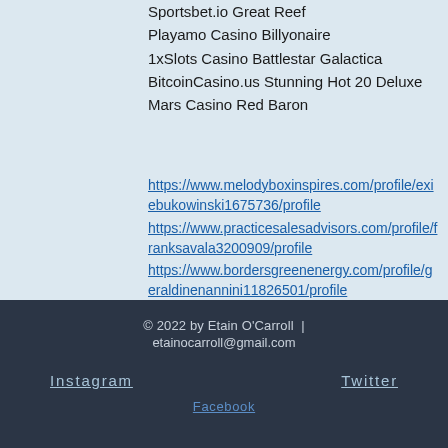mBit Casino Lava Loca
Sportsbet.io Great Reef
Playamo Casino Billyonaire
1xSlots Casino Battlestar Galactica
BitcoinCasino.us Stunning Hot 20 Deluxe
Mars Casino Red Baron
https://www.melodyboxinspires.com/profile/exiebukowinski1675736/profile
https://www.practicesalesadvisors.com/profile/franksavala3200909/profile
https://www.bordersgreenenergy.com/profile/geraldinenannini11826501/profile
https://www.vacationrentalsmanzanita.com/profile/rosalindagaiser11447284/profile
© 2022 by Etain O'Carroll  |  etainocarroll@gmail.com
Instagram
Twitter
Facebook